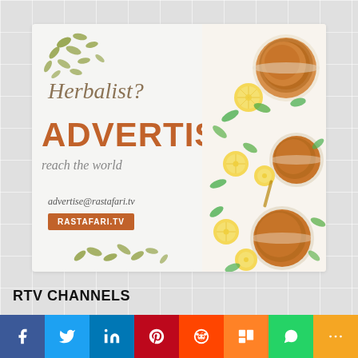[Figure (illustration): Herbalist advertise banner with herbal tea cups, lemon slices, and green leaves on white background. Text: 'Herbalist? ADVERTISE reach the world advertise@rastafari.tv RASTAFARI.TV']
RTV CHANNELS
[Figure (infographic): Social media share bar with icons: Facebook (blue), Twitter (light blue), LinkedIn (dark blue), Pinterest (red), Reddit (orange-red), Mix (orange), WhatsApp (green), More (yellow-orange)]